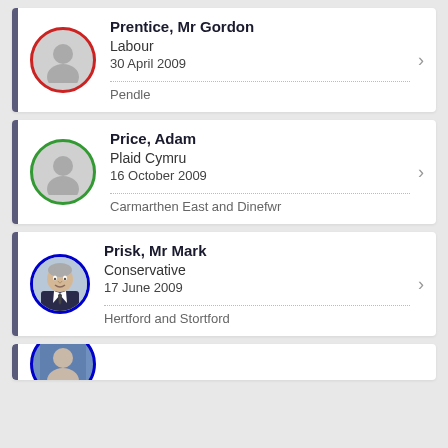Prentice, Mr Gordon | Labour | 30 April 2009 | Pendle
Price, Adam | Plaid Cymru | 16 October 2009 | Carmarthen East and Dinefwr
Prisk, Mr Mark | Conservative | 17 June 2009 | Hertford and Stortford